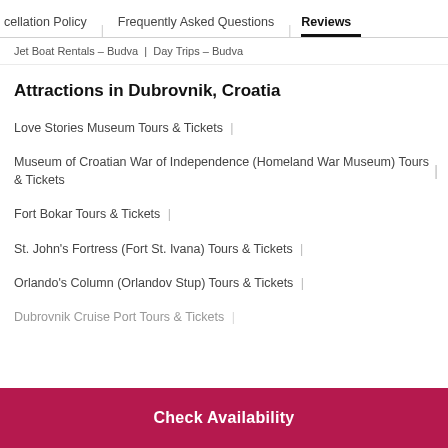cellation Policy | Frequently Asked Questions | Reviews
Jet Boat Rentals – Budva | Day Trips – Budva
Attractions in Dubrovnik, Croatia
Love Stories Museum Tours & Tickets |
Museum of Croatian War of Independence (Homeland War Museum) Tours & Tickets
Fort Bokar Tours & Tickets |
St. John's Fortress (Fort St. Ivana) Tours & Tickets |
Orlando's Column (Orlandov Stup) Tours & Tickets |
Dubrovnik Cruise Port Tours & Tickets |
Check Availability